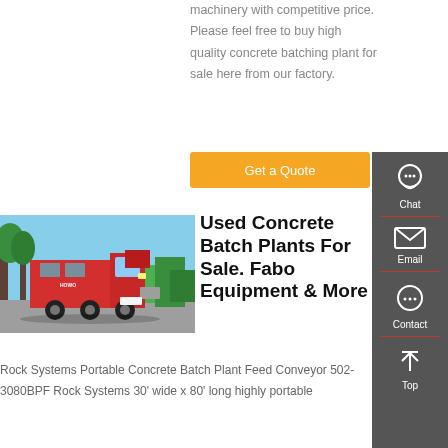machinery with competitive price. Please feel free to buy high quality concrete batching plant for sale here from our factory.
Get a Quote
[Figure (photo): Red heavy truck (concrete batch plant truck) parked in industrial yard with green trucks visible in background]
Used Concrete Batch Plants For Sale. Fabo Equipment & More
Rock Systems Portable Concrete Batch Plant Feed Conveyor 502-3080BPF Rock Systems 30' wide x 80' long highly portable